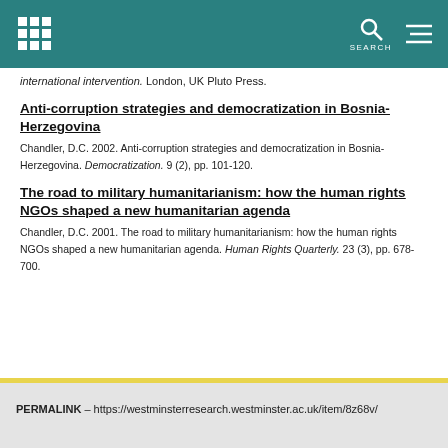Westminster Research – header bar with logo and search
international intervention. London, UK Pluto Press.
Anti-corruption strategies and democratization in Bosnia-Herzegovina
Chandler, D.C. 2002. Anti-corruption strategies and democratization in Bosnia-Herzegovina. Democratization. 9 (2), pp. 101-120.
The road to military humanitarianism: how the human rights NGOs shaped a new humanitarian agenda
Chandler, D.C. 2001. The road to military humanitarianism: how the human rights NGOs shaped a new humanitarian agenda. Human Rights Quarterly. 23 (3), pp. 678-700.
PERMALINK – https://westminsterresearch.westminster.ac.uk/item/8z68v/